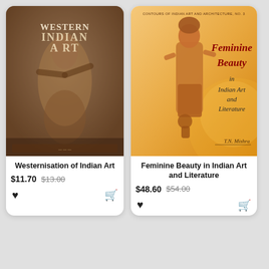[Figure (illustration): Book cover of 'Westernisation of Indian Art' - sepia-toned image with a carved or painted figure and stylized text overlaid]
Westernisation of Indian Art
$11.70  $13.00
[Figure (illustration): Book cover of 'Feminine Beauty in Indian Art and Literature' by T.N. Mishra - orange/amber background with a carved female statue, series title 'Contours of Indian Art and Architecture, No. 3' at top, title in red and black italic script]
Feminine Beauty in Indian Art and Literature
$48.60  $54.00